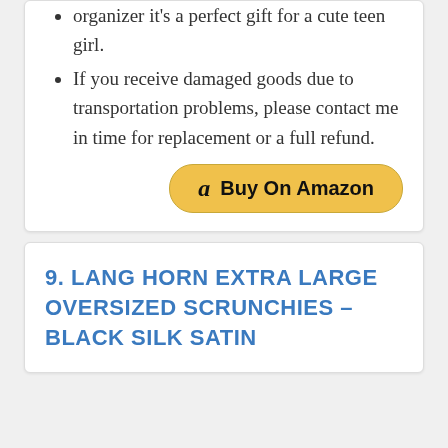organizer it's a perfect gift for a cute teen girl.
If you receive damaged goods due to transportation problems, please contact me in time for replacement or a full refund.
[Figure (other): Buy On Amazon button with Amazon logo]
9. LANG HORN EXTRA LARGE OVERSIZED SCRUNCHIES – BLACK SILK SATIN